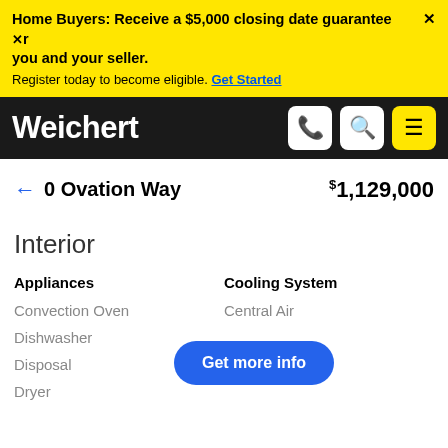Home Buyers: Receive a $5,000 closing date guarantee for you and your seller. Register today to become eligible. Get Started
Weichert
← 0 Ovation Way   $1,129,000
Interior
Appliances
Cooling System
Convection Oven
Central Air
Dishwasher
Disposal
Dryer
Get more info